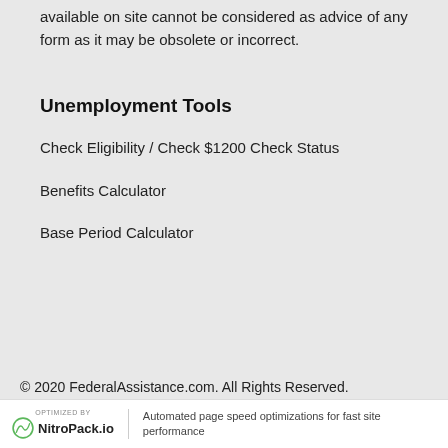available on site cannot be considered as advice of any form as it may be obsolete or incorrect.
Unemployment Tools
Check Eligibility / Check $1200 Check Status
Benefits Calculator
Base Period Calculator
© 2020 FederalAssistance.com. All Rights Reserved.
Automated page speed optimizations for fast site performance